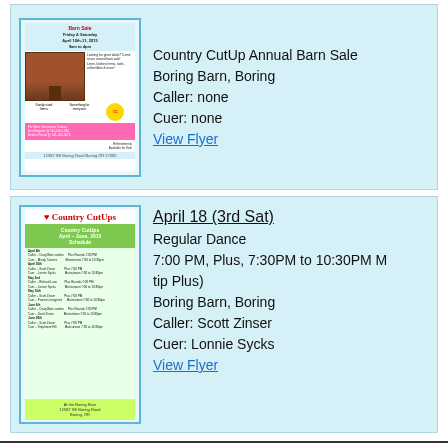[Figure (illustration): Country CutUp Annual Barn Sale flyer thumbnail showing barn image, event details, contact info in pink box]
Country CutUp Annual Barn Sale
Boring Barn, Boring
Caller: none
Cuer: none
View Flyer
[Figure (illustration): Country CutUps April-June 2015 Schedule flyer thumbnail with green header and schedule rows]
April 18 (3rd Sat)
Regular Dance
7:00 PM, Plus, 7:30PM to 10:30PM M... tip Plus)
Boring Barn, Boring
Caller: Scott Zinser
Cuer: Lonnie Sycks
View Flyer
Floordusters - Link